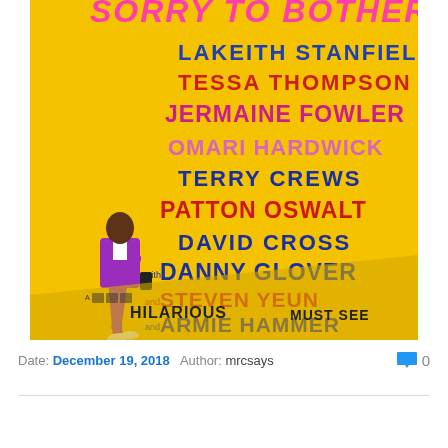[Figure (photo): Movie poster for 'Sorry to Bother You' on a yellow background. Features a man in a purple suit leaning against a wall. Cast names listed: Lakeith Stanfield, Tessa Thompson, Jermaine Fowler, Omari Hardwick, Terry Crews, Patton Oswalt, David Cross, Danny Glover, Steven Yeun, Armie Hammer. Bottom shows critic quotes with 'HILARIOUS' and 'MUST SEE' visible.]
Date: December 19, 2018  Author: mrcsays  0